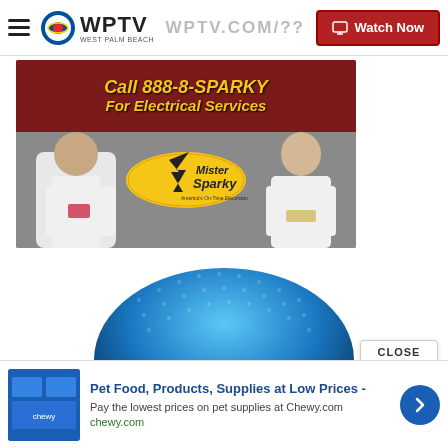WPTV West Palm Beach — Watch Now
[Figure (photo): Mister Sparky electrical services advertisement. Red banner at top reads 'Call 888-8-SPARKY For Electrical Services' in bold yellow italic text. Below: two technicians in white uniforms flanking the Mister Sparky logo (yellow oval with cartoon character, tagline 'America's On-Time Electrician').]
[Figure (photo): Close-up of a blue dotted/textured rounded object, likely an Amazon Echo or similar smart speaker device, cropped to show only the top dome portion.]
[Figure (other): Close button overlay with 'CLOSE' text and circular X icon.]
[Figure (other): Bottom advertisement banner for Chewy.com: 'Pet Food, Products, Supplies at Low Prices - Pay the lowest prices on pet supplies at Chewy.com' with blue product thumbnail image and navigation arrow button.]